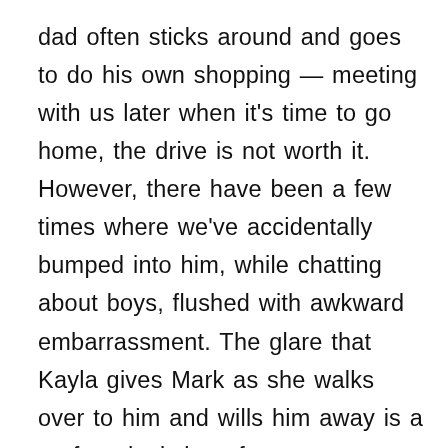dad often sticks around and goes to do his own shopping — meeting with us later when it's time to go home, the drive is not worth it. However, there have been a few times where we've accidentally bumped into him, while chatting about boys, flushed with awkward embarrassment. The glare that Kayla gives Mark as she walks over to him and wills him away is a perfect depiction of a teenager being embarrassed by a parent, when they are just striving to fit in. Mark's fatherly concern for both Kayla's happiness and safety as he watches from a distance feels familiar and I am sure most parents naturally feel nervous